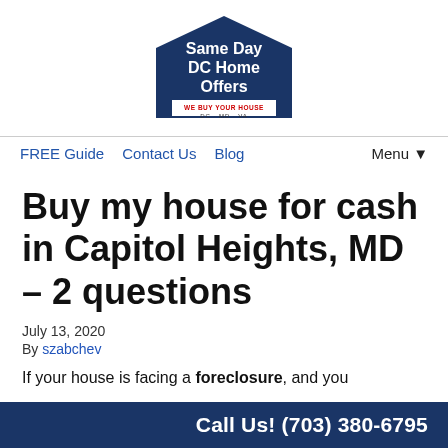[Figure (logo): Same Day DC Home Offers logo - dark blue pentagon/house shape with white text 'Same Day DC Home Offers' and red/white text 'WE BUY YOUR HOUSE DC MD VA']
FREE Guide   Contact Us   Blog   Menu ▼
Buy my house for cash in Capitol Heights, MD – 2 questions
July 13, 2020
By szabchev
If your house is facing a foreclosure, and you
Call Us! (703) 380-6795